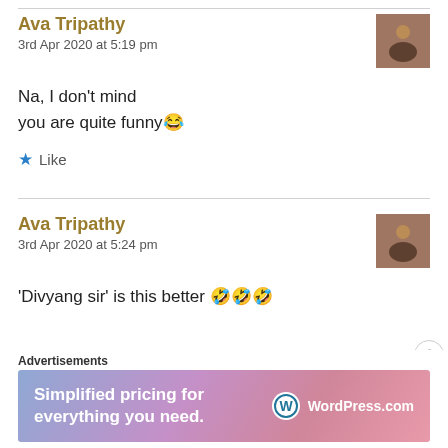Ava Tripathy
3rd Apr 2020 at 5:19 pm
Na, I don't mind
you are quite funny😂
★ Like
Ava Tripathy
3rd Apr 2020 at 5:24 pm
'Divyang sir' is this better 🤣🤣🤣
Advertisements
[Figure (other): WordPress.com advertisement banner: 'Simplified pricing for everything you need.' with WordPress.com logo]